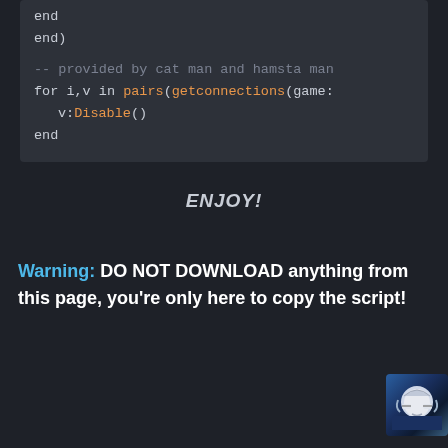[Figure (screenshot): Code block showing Lua script snippet with 'end)', a comment '-- provided by cat man and hamsta man', a for loop 'for i,v in pairs(getconnections(game:', 'v:Disable()', and 'end' on dark background]
ENJOY!
Warning: DO NOT DOWNLOAD anything from this page, you're only here to copy the script!